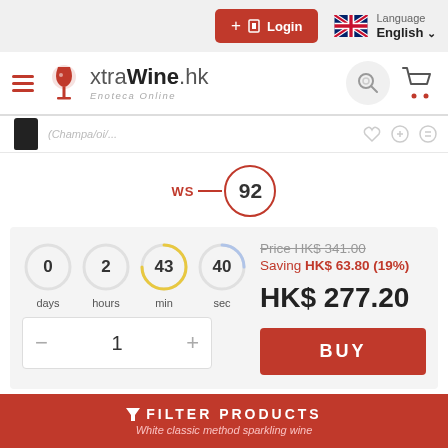Login | Language English
[Figure (logo): xtraWine.hk Enoteca Online logo with wine glass icon, hamburger menu, search icon, and cart icon]
[Figure (other): Wine bottle thumbnail with partially visible product name text]
[Figure (other): WS 92 wine score badge — circular badge with score 92 and 'WS' label in red]
[Figure (other): Countdown timer showing 0 days, 2 hours, 43 min, 40 sec with circular progress indicators. Strike-through price HK$ 341.00, saving HK$ 63.80 (19%), sale price HK$ 277.20, quantity selector showing 1, and BUY button]
Price HK$ 341.00
Saving HK$ 63.80 (19%)
HK$ 277.20
BUY
COMPARE
FILTER PRODUCTS | White classic method sparkling wine